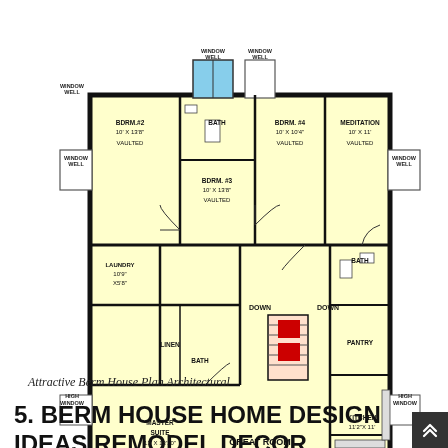[Figure (engineering-diagram): Architectural floor plan of a berm house showing: BDRM #2 10'x13'8" VAULTED, BDRM #3 10'x13'8" VAULTED, BDRM #4 10'x10'4" VAULTED, MEDITATION 10'x11' VAULTED, MASTER SUITE 13'x13'10" VAULTED, GREAT ROOM 23'4"x17'4" VAULTED, KITCHEN 11'2"x11', DINING 11'8"x8' VAULTED, LAUNDRY 10'9"x5'8", LINEN, BATH (multiple), PANTRY, DOWN stairs (2), WINDOW WELL (4), HIGH WINDOW (2), RETAINING WALL (2)]
Attractive Berm House Plan Architectural
5. BERM HOUSE HOME DESIGN IDEAS REMODEL DECOR